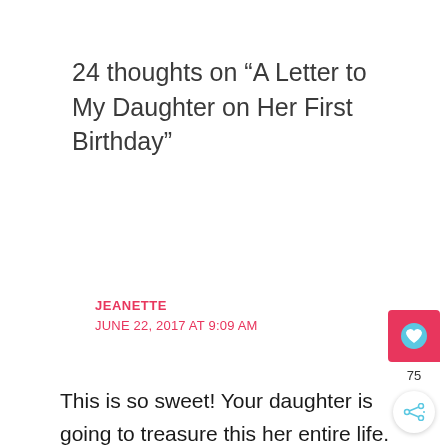24 thoughts on “A Letter to My Daughter on Her First Birthday”
JEANETTE
JUNE 22, 2017 AT 9:09 AM
This is so sweet! Your daughter is going to treasure this her entire life. What a beautiful